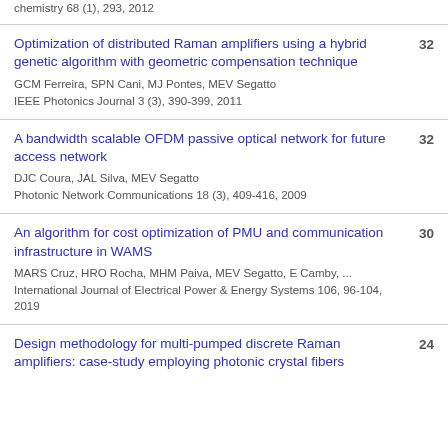chemistry 68 (1), 293, 2012
Optimization of distributed Raman amplifiers using a hybrid genetic algorithm with geometric compensation technique
GCM Ferreira, SPN Cani, MJ Pontes, MEV Segatto
IEEE Photonics Journal 3 (3), 390-399, 2011
32
A bandwidth scalable OFDM passive optical network for future access network
DJC Coura, JAL Silva, MEV Segatto
Photonic Network Communications 18 (3), 409-416, 2009
32
An algorithm for cost optimization of PMU and communication infrastructure in WAMS
MARS Cruz, HRO Rocha, MHM Paiva, MEV Segatto, E Camby, ...
International Journal of Electrical Power & Energy Systems 106, 96-104, 2019
30
Design methodology for multi-pumped discrete Raman amplifiers: case-study employing photonic crystal fibers
24